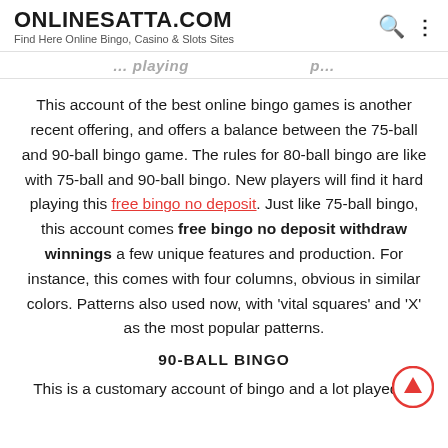ONLINESATTA.COM — Find Here Online Bingo, Casino & Slots Sites
…playing …page heading partial…
This account of the best online bingo games is another recent offering, and offers a balance between the 75-ball and 90-ball bingo game. The rules for 80-ball bingo are like with 75-ball and 90-ball bingo. New players will find it hard playing this free bingo no deposit. Just like 75-ball bingo, this account comes free bingo no deposit withdraw winnings a few unique features and production. For instance, this comes with four columns, obvious in similar colors. Patterns also used now, with 'vital squares' and 'X' as the most popular patterns.
90-BALL BINGO
This is a customary account of bingo and a lot played in